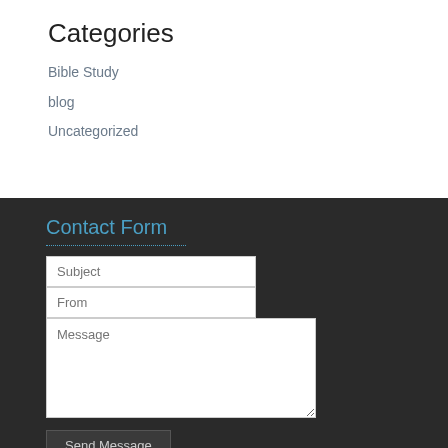Categories
Bible Study
blog
Uncategorized
Contact Form
Subject
From
Message
Send Message